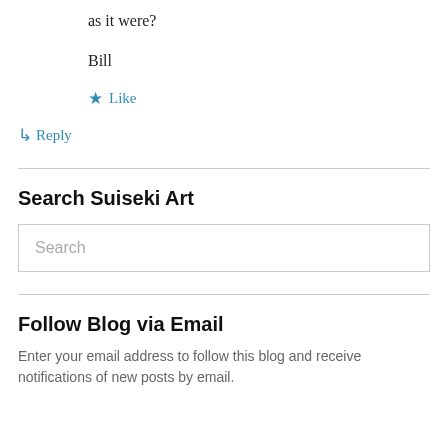as it were?
Bill
★ Like
↳ Reply
Search Suiseki Art
Search
Follow Blog via Email
Enter your email address to follow this blog and receive notifications of new posts by email.